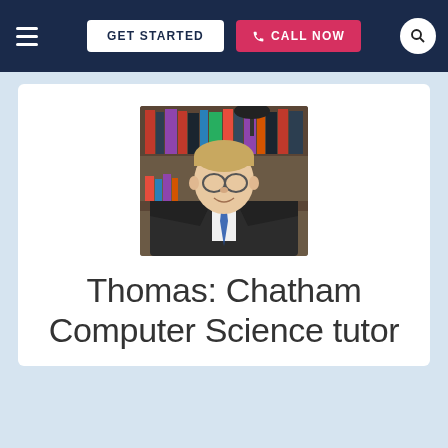GET STARTED | CALL NOW
[Figure (photo): Profile photo of Thomas, a young man with glasses wearing a dark suit and striped tie, standing in front of a bookshelf]
Thomas: Chatham Computer Science tutor